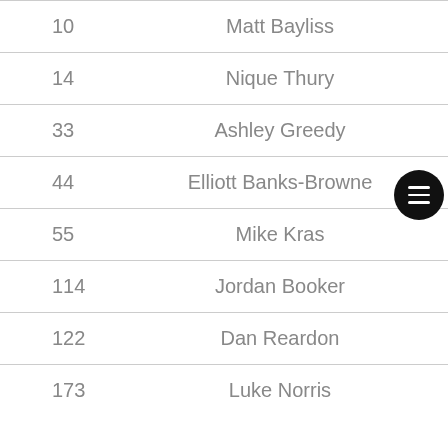| Number | Name |
| --- | --- |
| 10 | Matt Bayliss |
| 14 | Nique Thury |
| 33 | Ashley Greedy |
| 44 | Elliott Banks-Browne |
| 55 | Mike Kras |
| 114 | Jordan Booker |
| 122 | Dan Reardon |
| 173 | Luke Norris |